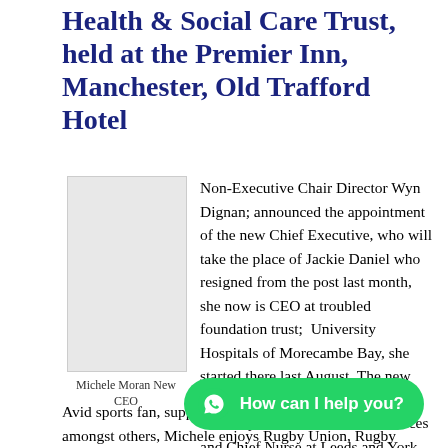Health & Social Care Trust, held at the Premier Inn, Manchester, Old Trafford Hotel
[Figure (photo): Photo placeholder of Michele Moran New CEO with grey rectangle]
Michele Moran New CEO
Non-Executive Chair Director Wyn Dignan; announced the appointment of the new Chief Executive, who will take the place of Jackie Daniel who resigned from the post last month, she now is CEO at troubled foundation trust;  University Hospitals of Morecambe Bay, she started there last August. The new incumbent is Michele Moran; she is currently a Director of Care Services and Chief Nurse at Leeds and York Partnership NHS Foundation Trust.  She is a Nurse, Midwife, and Health Visitor
Avid sports fan, supporting Bradford City Football Club, amongst others, Michele enjoys Rugby Union, Rugby